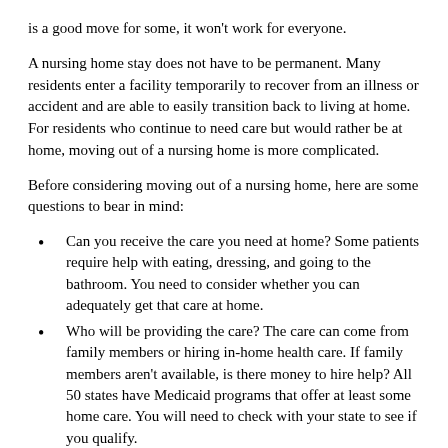is a good move for some, it won't work for everyone.
A nursing home stay does not have to be permanent. Many residents enter a facility temporarily to recover from an illness or accident and are able to easily transition back to living at home. For residents who continue to need care but would rather be at home, moving out of a nursing home is more complicated.
Before considering moving out of a nursing home, here are some questions to bear in mind:
Can you receive the care you need at home? Some patients require help with eating, dressing, and going to the bathroom. You need to consider whether you can adequately get that care at home.
Who will be providing the care? The care can come from family members or hiring in-home health care. If family members aren't available, is there money to hire help? All 50 states have Medicaid programs that offer at least some home care. You will need to check with your state to see if you qualify.
Will you be able to take the medications you need at home?
How is your physical and emotional stamina? Moving back home requires determination and an ability to manage problems, since not everything will be taken care of as in a facility.
Is the house set up to safely accommodate you? Are there a lot of